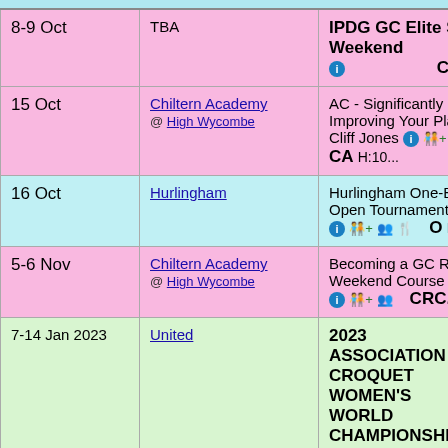| Date | Venue | Event | Extra |
| --- | --- | --- | --- |
| 8-9 Oct | TBA | IPDG GC Elite Squad Weekend | CG Sele... |
| 15 Oct | Chiltern Academy @ High Wycombe | AC - Significantly Improving Your Play with Cliff Jones | CA H:10... |
| 16 Oct | Hurlingham | Hurlingham One-Ball Open Tournament (AC) | O H... |
| 5-6 Nov | Chiltern Academy @ High Wycombe | Becoming a GC Referee Weekend Course | CRC... |
| 7-14 Jan 2023 | United | 2023 ASSOCIATION CROQUET WOMEN'S WORLD CHAMPIONSHIP | A By... Sele... C1 5... |